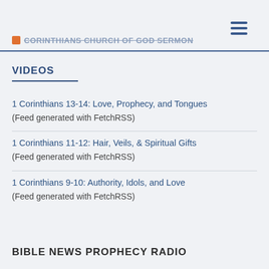CORINTHIANS CHURCH OF GOD SERMON
VIDEOS
1 Corinthians 13-14: Love, Prophecy, and Tongues
(Feed generated with FetchRSS)
1 Corinthians 11-12: Hair, Veils, & Spiritual Gifts
(Feed generated with FetchRSS)
1 Corinthians 9-10: Authority, Idols, and Love
(Feed generated with FetchRSS)
BIBLE NEWS PROPHECY RADIO